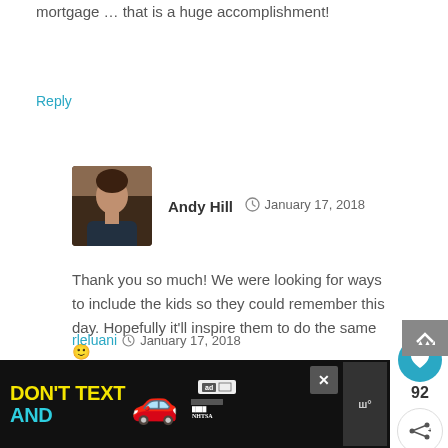mortgage … that is a huge accomplishment!
Reply
Andy Hill  January 17, 2018
Thank you so much! We were looking for ways to include the kids so they could remember this day. Hopefully it'll inspire them to do the same 🙂
Reply
rleluani  January 17, 2018
[Figure (other): Advertisement banner: DON'T TEXT AND [car emoji] with NHTSA logo]
[Figure (other): Floating heart/like button showing 92 likes and share button]